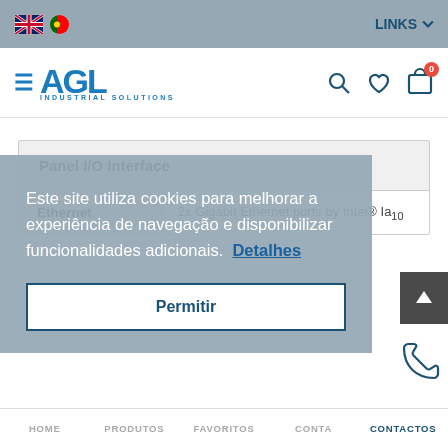AGL Industrial Solutions — LINKS
[Figure (logo): AGL Industrial Solutions logo with hamburger menu, search, heart, and cart icons]
|  | Panel I/O Interface |
| --- | --- |
| Ethernet | 2x Gigabit Ethernet ports by Intel® Ia10 |
Este site utiliza cookies para melhorar a experiência de navegação e disponibilizar funcionalidades adicionais. Detalhes
Permitir
HOME   PRODUTOS   FAVORITOS   CONTA   CONTACTOS